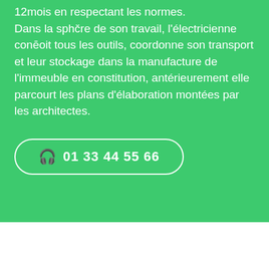12mois en respectant les normes.
Dans la sphčre de son travail, l'électricienne conēoit tous les outils, coordonne son transport et leur stockage dans la manufacture de l'immeuble en constitution, antérieurement elle parcourt les plans d'élaboration montées par les architectes.
🎧 01 33 44 55 66